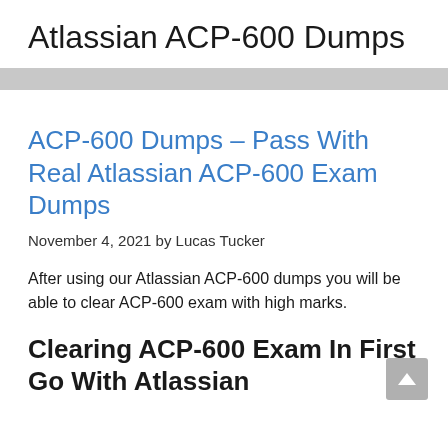Atlassian ACP-600 Dumps
ACP-600 Dumps – Pass With Real Atlassian ACP-600 Exam Dumps
November 4, 2021 by Lucas Tucker
After using our Atlassian ACP-600 dumps you will be able to clear ACP-600 exam with high marks.
Clearing ACP-600 Exam In First Go With Atlassian